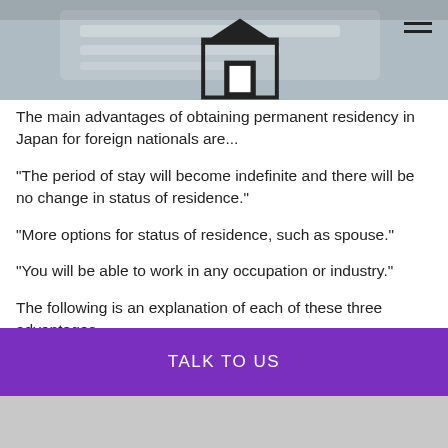[Figure (photo): Header banner with blurred passport/document image and a logo reading 'Deal' with a building icon on the left, and a hamburger menu icon on the right]
The main advantages of obtaining permanent residency in Japan for foreign nationals are...
“The period of stay will become indefinite and there will be no change in status of residence.”
“More options for status of residence, such as spouse.”
“You will be able to work in any occupation or industry.”
The following is an explanation of each of these three advantages.
The period of stay becomes indefinite.
TALK TO US